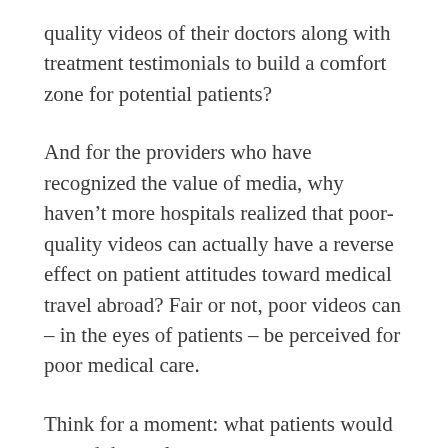quality videos of their doctors along with treatment testimonials to build a comfort zone for potential patients?
And for the providers who have recognized the value of media, why haven't more hospitals realized that poor-quality videos can actually have a reverse effect on patient attitudes toward medical travel abroad? Fair or not, poor videos can – in the eyes of patients – be perceived for poor medical care.
Think for a moment: what patients would extend themselves to secure a passport, board a plane